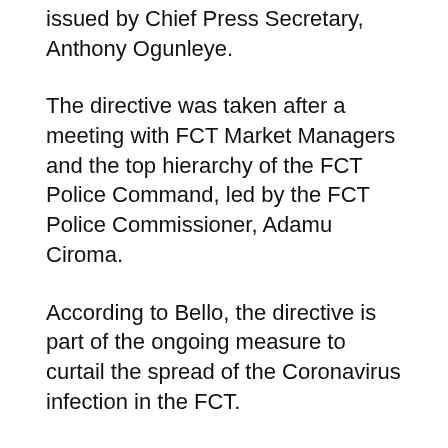issued by Chief Press Secretary, Anthony Ogunleye.
The directive was taken after a meeting with FCT Market Managers and the top hierarchy of the FCT Police Command, led by the FCT Police Commissioner, Adamu Ciroma.
According to Bello, the directive is part of the ongoing measure to curtail the spread of the Coronavirus infection in the FCT.
He added that only retailers will be allowed to operate within the markets as wholesale services would not be permitted.
He advised FCT residents to patronize markets within their neighbourhoods rather than going to the major